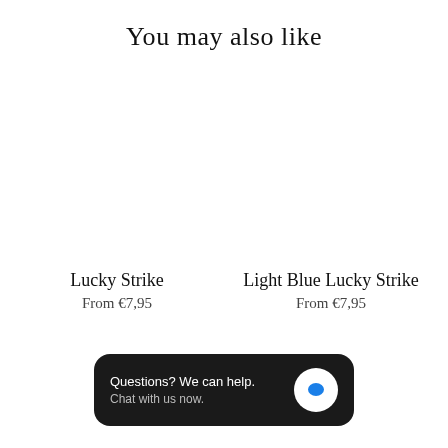You may also like
Lucky Strike
From €7,95
Light Blue Lucky Strike
From €7,95
Questions? We can help. Chat with us now.